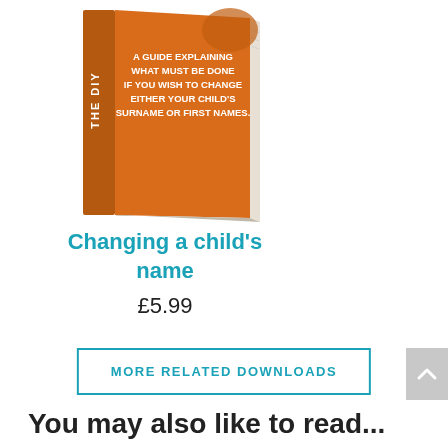[Figure (photo): Book cover for 'Changing a child's name' - orange book with text: A GUIDE EXPLAINING WHAT MUST BE DONE IF YOU WISH TO CHANGE EITHER YOUR CHILD'S SURNAME OR FIRST NAMES.]
Changing a child's name
£5.99
MORE RELATED DOWNLOADS
You may also like to read...